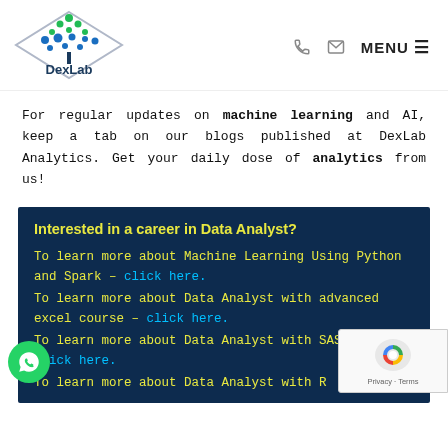[Figure (logo): DexLab Analytics logo: a tree made of blue and green circles on a diamond/rhombus outline, with 'DexLab' text below]
MENU
For regular updates on machine learning and AI, keep a tab on our blogs published at DexLab Analytics. Get your daily dose of analytics from us!
Interested in a career in Data Analyst?
To learn more about Machine Learning Using Python and Spark – click here.
To learn more about Data Analyst with advanced excel course – click here.
To learn more about Data Analyst with SAS Course – click here.
To learn more about Data Analyst with R